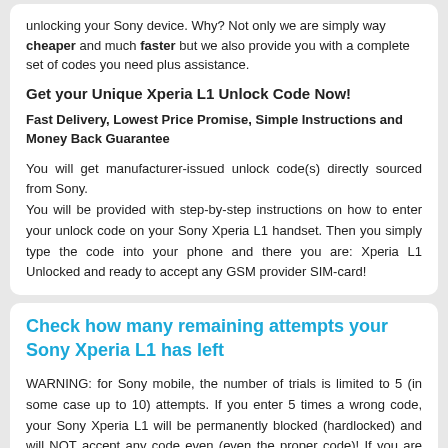unlocking your Sony device. Why? Not only we are simply way cheaper and much faster but we also provide you with a complete set of codes you need plus assistance.
Get your Unique Xperia L1 Unlock Code Now!
Fast Delivery, Lowest Price Promise, Simple Instructions and Money Back Guarantee
You will get manufacturer-issued unlock code(s) directly sourced from Sony.
You will be provided with step-by-step instructions on how to enter your unlock code on your Sony Xperia L1 handset. Then you simply type the code into your phone and there you are: Xperia L1 Unlocked and ready to accept any GSM provider SIM-card!
Check how many remaining attempts your Sony Xperia L1 has left
WARNING: for Sony mobile, the number of trials is limited to 5 (in some case up to 10) attempts. If you enter 5 times a wrong code, your Sony Xperia L1 will be permanently blocked (hardlocked) and will NOT accept any code even (even the proper code)! If you are not the first owner of the phone: check out this point before ordering!!
How To check how many remaining attempts on your Sony Xperia?